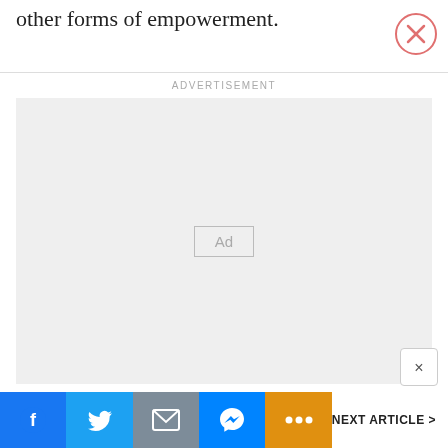other forms of empowerment.
[Figure (screenshot): Close button (X) in a red/pink circle, top right corner]
ADVERTISEMENT
[Figure (other): Grey advertisement placeholder box with 'Ad' label in center]
[Figure (screenshot): Dismiss X button, bottom right of ad]
[Figure (screenshot): Bottom social sharing bar with Facebook, Twitter, Email, Messenger, More buttons and NEXT ARTICLE link]